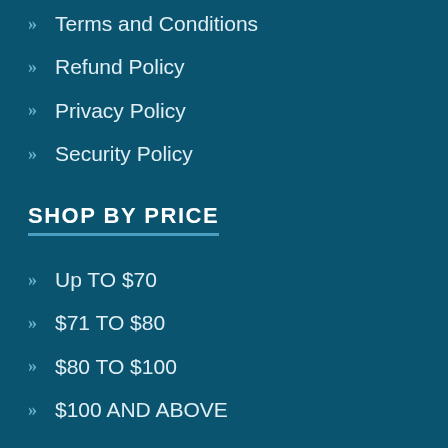Terms and Conditions
Refund Policy
Privacy Policy
Security Policy
SHOP BY PRICE
Up TO $70
$71 TO $80
$80 TO $100
$100 AND ABOVE
GET IN TOUCH
Ormeau, QLD, 4208, Australia